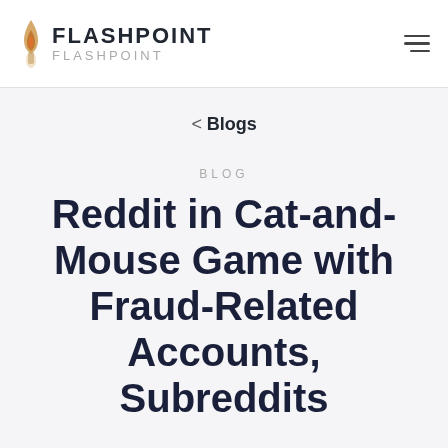FLASHPOINT / FLASHPOINT
< Blogs
BLOG
Reddit in Cat-and-Mouse Game with Fraud-Related Accounts, Subreddits
Once authorities shut down the AlphaBay market last July, fraudsters went scurrying elsewhere to